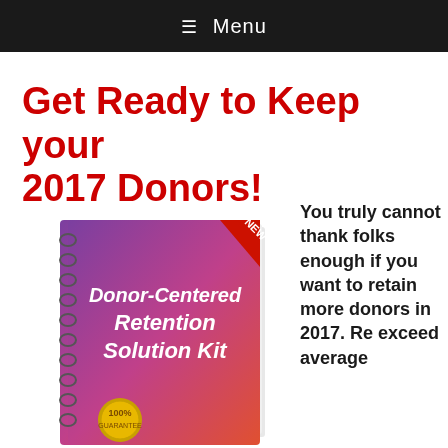☰ Menu
Get Ready to Keep your 2017 Donors!
[Figure (illustration): A spiral-bound book titled 'Donor-Centered Retention Solution Kit' with a red 'NEW' banner in the top right corner and a gold '100%' seal at the bottom. The cover has a purple-to-red gradient.]
You truly cannot thank folks enough if you want to retain more donors in 2017. Re exceed average